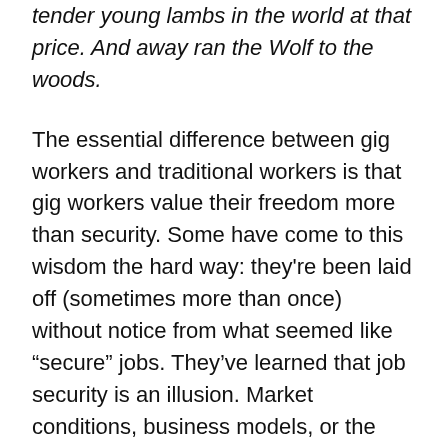tender young lambs in the world at that price.  And away ran the Wolf to the woods.
The essential difference between gig workers and traditional workers is that gig workers value their freedom more than security. Some have come to this wisdom the hard way: they're been laid off (sometimes more than once) without notice from what seemed like “secure” jobs. They've learned that job security is an illusion. Market conditions, business models, or the global economy can change almost overnight (hello 2020) and we probably won't see it coming. They prefer to be in charge of their own economic security.
Traditional workers sometimes get trapped in jobs that don't really care for – maybe even hate – because they've decided to trade challenge and meaning for security (or